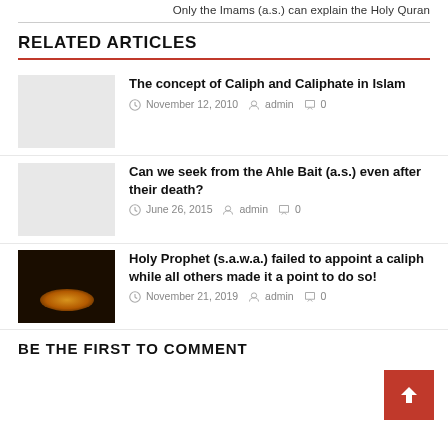Only the Imams (a.s.) can explain the Holy Quran
RELATED ARTICLES
The concept of Caliph and Caliphate in Islam
November 12, 2010  admin  0
Can we seek from the Ahle Bait (a.s.) even after their death?
June 26, 2015  admin  0
[Figure (photo): Dark background image with glowing orange light]
Holy Prophet (s.a.w.a.) failed to appoint a caliph while all others made it a point to do so!
November 21, 2019  admin  0
BE THE FIRST TO COMMENT